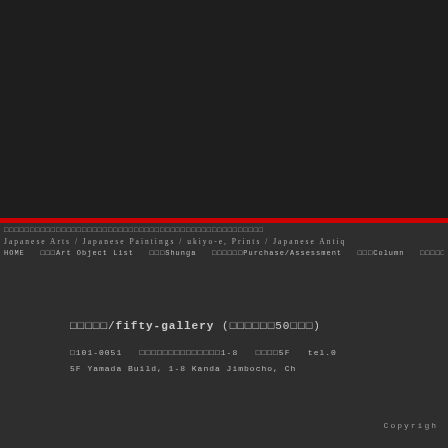[Figure (other): Dark header/image area at top of page, approximately the top half, dark background]
□□□□□□□□□□□□□□□□□□□□□□□□□□□□□□□□□□□□□□□□□□□□□□□□□□
Japanese Arts / Japanese Paintings / ukiyo-e, Prints / Japanese Antiq
HOME  □□□Art Object List  □□□Shunga  □□□□□□Purchase/Assessment  □□□Column  □□□□□□□□□□News &
□□□□□/fifty-gallery (□□□□□□50□□□)
□101-0051  □□□□□□□□□□□□□□1-8  □□□□5F  tel.0
5F Yamada Build, 1-8 Kanda Jimbocho, Ch
Copyright